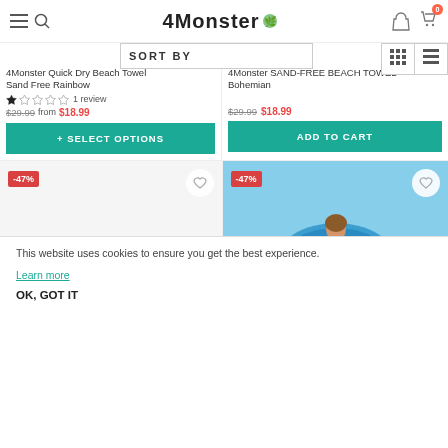4Monster
SORT BY
4Monster Quick Dry Beach Towel Sand Free Rainbow
1 review
$29.99 from $18.99
+ SELECT OPTIONS
4Monster SAND-FREE BEACH TOWEL Bohemian
$29.99 $18.99
ADD TO CART
-47%
-47%
[Figure (photo): Person holding a blue round beach towel with ocean wave pattern on a beach]
This website uses cookies to ensure you get the best experience.
Learn more
OK, GOT IT